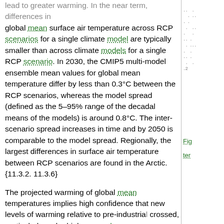lead to greater warming. In the near term, differences in global mean surface air temperature across RCP scenarios for a single climate model are typically smaller than across climate models for a single RCP scenario. In 2030, the CMIP5 multi-model ensemble mean values for global mean temperature differ by less than 0.3°C between the RCP scenarios, whereas the model spread (defined as the 5–95% range of the decadal means of the models) is around 0.8°C. The inter-scenario spread increases in time and by 2050 is comparable to the model spread. Regionally, the largest differences in surface air temperature between RCP scenarios are found in the Arctic. {11.3.2. 11.3.6}
The projected warming of global mean temperatures implies high confidence that new levels of warming relative to pre-industrial crossed, particularly under higher greenhouse gas emissions scenarios. Using a reference period of 1850–1900, under RCP4.5 or RCP6.0, it is more likely than not that the mean GMST for the period 2016–2035 will be more than 1°C above the mean for 1850–1900, and very unlikely that it will be more than 1.5°C above that mean (medium confidence). {11.3.6}
A future volcanic eruption similar in size to the 1991 eruption of Mt. Pinatubo would cause a rapid drop in global mean surface air temperature of about 0.5°C in the year following the year, with recovery over the next few years. Larger eruptions, or se...